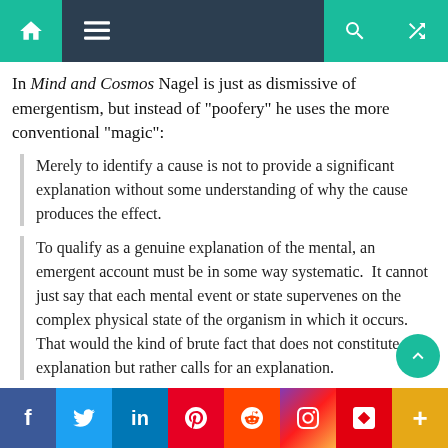Navigation bar with home, menu, search, shuffle icons
In Mind and Cosmos Nagel is just as dismissive of emergentism, but instead of “poofery” he uses the more conventional “magic”:
Merely to identify a cause is not to provide a significant explanation without some understanding of why the cause produces the effect.
To qualify as a genuine explanation of the mental, an emergent account must be in some way systematic.  It cannot just say that each mental event or state supervenes on the complex physical state of the organism in which it occurs.  That would the kind of brute fact that does not constitute an explanation but rather calls for an explanation.
If emergence is the whole truth, it implies that mental
f  Twitter  in  Pinterest  Reddit  Instagram  Flipboard  +